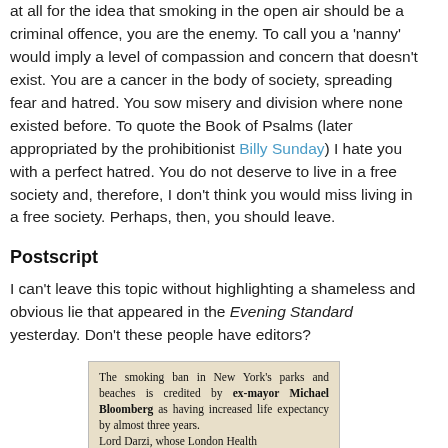at all for the idea that smoking in the open air should be a criminal offence, you are the enemy. To call you a 'nanny' would imply a level of compassion and concern that doesn't exist. You are a cancer in the body of society, spreading fear and hatred. You sow misery and division where none existed before. To quote the Book of Psalms (later appropriated by the prohibitionist Billy Sunday) I hate you with a perfect hatred. You do not deserve to live in a free society and, therefore, I don't think you would miss living in a free society. Perhaps, then, you should leave.
Postscript
I can't leave this topic without highlighting a shameless and obvious lie that appeared in the Evening Standard yesterday. Don't these people have editors?
[Figure (photo): Newspaper clipping from the Evening Standard reading: 'The smoking ban in New York's parks and beaches is credited by ex-mayor Michael Bloomberg as having increased life expectancy by almost three years. Lord Darzi, whose London Health...']